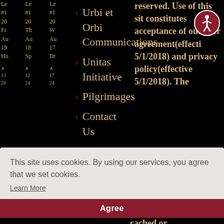[Figure (screenshot): Website screenshot with black background showing navigation columns on left, list items in middle (Urbi et Orbi Communications, Unitas Initiative, Pilgrimages, Contact Us), and legal text on right about user agreement and privacy policy effective 5/1/2018. An accessibility icon (person in circle) appears top right.]
This site uses cookies. By using our services, you agree that we set cookies.
Learn More
Agree
cached or